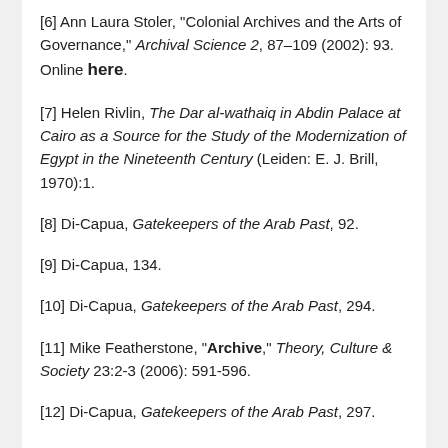[6] Ann Laura Stoler, "Colonial Archives and the Arts of Governance," Archival Science 2, 87–109 (2002): 93. Online here.
[7] Helen Rivlin, The Dar al-wathaiq in Abdin Palace at Cairo as a Source for the Study of the Modernization of Egypt in the Nineteenth Century (Leiden: E. J. Brill, 1970):1.
[8] Di-Capua, Gatekeepers of the Arab Past, 92.
[9] Di-Capua, 134.
[10] Di-Capua, Gatekeepers of the Arab Past, 294.
[11] Mike Featherstone, "Archive," Theory, Culture & Society 23:2-3 (2006): 591-596.
[12] Di-Capua, Gatekeepers of the Arab Past, 297.